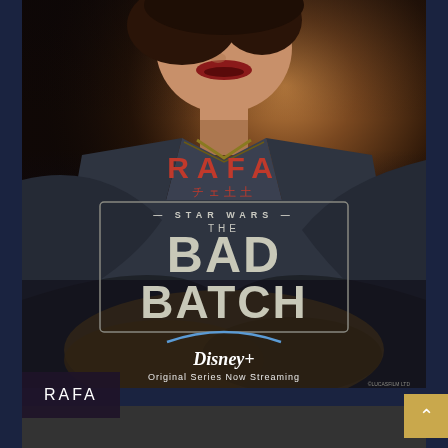[Figure (illustration): Star Wars: The Bad Batch promotional poster featuring character RAFA - a woman in dark military uniform with dark hair, red lips. The poster shows her from chin/neck down with the show logo and Disney+ branding. A red 'RAFA' text overlay appears on the poster along with the Star Wars: The Bad Batch logo. Bottom left shows a dark box with 'RAFA' label text. A gold back-to-top arrow button appears bottom right.]
RAFA
STAR WARS THE BAD BATCH
Disney+ Original Series Now Streaming
RAFA